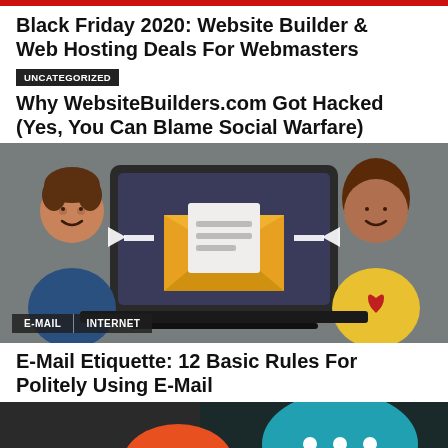Black Friday 2020: Website Builder & Web Hosting Deals For Webmasters
UNCATEGORIZED
Why WebsiteBuilders.com Got Hacked (Yes, You Can Blame Social Warfare)
[Figure (illustration): Two cartoon characters (a boy in blue on the left and a girl in yellow with a heart on the right) facing an open envelope with a letter on a laptop screen, arrows pointing toward the envelope from both sides. Background is blurred outdoor scene.]
E-Mail Etiquette: 12 Basic Rules For Politely Using E-Mail
[Figure (illustration): Partial view of a cartoon character with orange/red hair and a teal speech bubble with white dots, on a dark background. Image is cropped.]